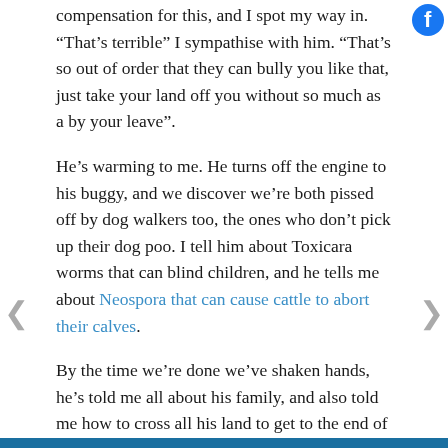compensation for this, and I spot my way in. “That’s terrible” I sympathise with him. “That’s so out of order that they can bully you like that, just take your land off you without so much as a by your leave”.
He’s warming to me. He turns off the engine to his buggy, and we discover we’re both pissed off by dog walkers too, the ones who don’t pick up their dog poo. I tell him about Toxicara worms that can blind children, and he tells me about Neospora that can cause cattle to abort their calves.
By the time we’re done we’ve shaken hands, he’s told me all about his family, and also told me how to cross all his land to get to the end of the embankment, and that I’m welcome here. Sorted.
The embankment continues a mile or so, then eventually turns a sharp right hand bend and heads south to the A588.